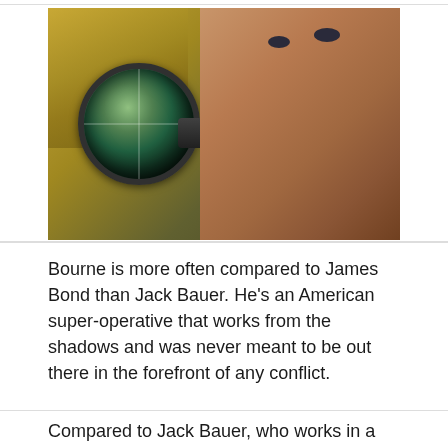[Figure (photo): Close-up movie poster or promotional image showing a man looking through a sniper rifle scope. The right side shows his face in warm skin tones with intense eyes. The left background shows a golden/yellow cityscape. The scope is large and prominent in the center-left of the image.]
Bourne is more often compared to James Bond than Jack Bauer. He's an American super-operative that works from the shadows and was never meant to be out there in the forefront of any conflict.
Compared to Jack Bauer, who works in a public